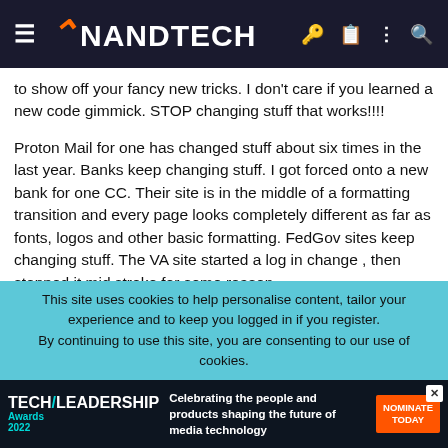AnandTech
to show off your fancy new tricks. I don't care if you learned a new code gimmick. STOP changing stuff that works!!!!
Proton Mail for one has changed stuff about six times in the last year. Banks keep changing stuff. I got forced onto a new bank for one CC. Their site is in the middle of a formatting transition and every page looks completely different as far as fonts, logos and other basic formatting. FedGov sites keep changing stuff. The VA site started a log in change , then stopped it mid stroke for some reason.
No wonder people keep getting their IDs stolen, they have no idea what any given website is supposed to look like from day to day. Log in one day and it looks and works fine. Log in the next day and it's all different and half the stuff doesn't work. How are they supposed to
This site uses cookies to help personalise content, tailor your experience and to keep you logged in if you register.
By continuing to use this site, you are consenting to our use of cookies.
[Figure (infographic): Tech Leadership Awards 2022 advertisement banner with orange nominate today button]